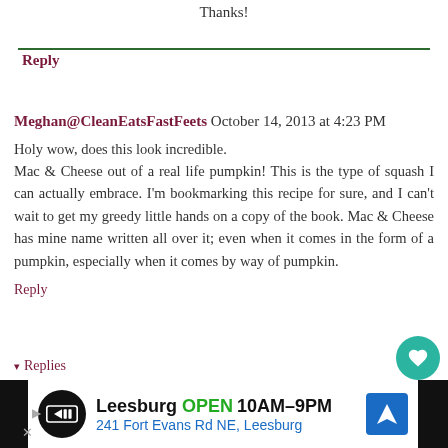Thanks!
Reply
Meghan@CleanEatsFastFeets October 14, 2013 at 4:23 PM
Holy wow, does this look incredible.
Mac & Cheese out of a real life pumpkin! This is the type of squash I can actually embrace. I'm bookmarking this recipe for sure, and I can't wait to get my greedy little hands on a copy of the book. Mac & Cheese has mine name written all over it; even when it comes in the form of a pumpkin, especially when it comes by way of pumpkin.
Reply
▾ Replies
Kirsten October 15, 2013 at 7:16 PM
Leesburg OPEN 10AM–9PM 241 Fort Evans Rd NE, Leesburg